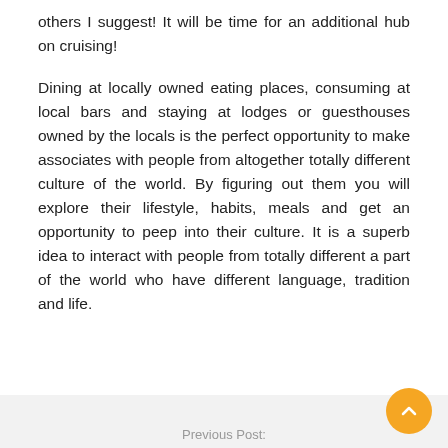others I suggest! It will be time for an additional hub on cruising!
Dining at locally owned eating places, consuming at local bars and staying at lodges or guesthouses owned by the locals is the perfect opportunity to make associates with people from altogether totally different culture of the world. By figuring out them you will explore their lifestyle, habits, meals and get an opportunity to peep into their culture. It is a superb idea to interact with people from totally different a part of the world who have different language, tradition and life.
Previous Post: